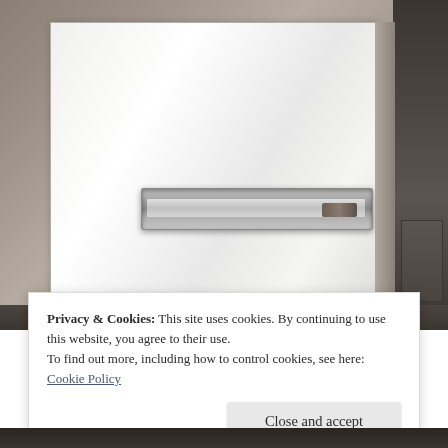[Figure (photo): Photo of a white gloss cabinet or refrigerator with a horizontal metallic handle bar, set against a dark grey/brown wall background. Dark furniture visible on the right side.]
Privacy & Cookies: This site uses cookies. By continuing to use this website, you agree to their use.
To find out more, including how to control cookies, see here: Cookie Policy
Close and accept